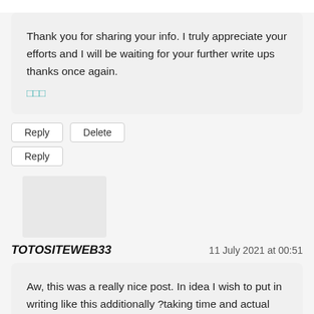Thank you for sharing your info. I truly appreciate your efforts and I will be waiting for your further write ups thanks once again.
���
Reply   Delete
Reply
TOTOSITEWEB33   11 July 2021 at 00:51
Aw, this was a really nice post. In idea I wish to put in writing like this additionally ?taking time and actual effort to make a very good article? But what can I say? I procrastinate a lot and in no way appear to get